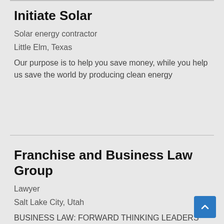Initiate Solar
Solar energy contractor
Little Elm, Texas
Our purpose is to help you save money, while you help us save the world by producing clean energy
Franchise and Business Law Group
Lawyer
Salt Lake City, Utah
BUSINESS LAW: FORWARD THINKING LEADERS